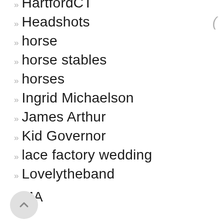HartfordCT
Headshots
horse
horse stables
horses
Ingrid Michaelson
James Arthur
Kid Governor
lace factory wedding
Lovelytheband
MA